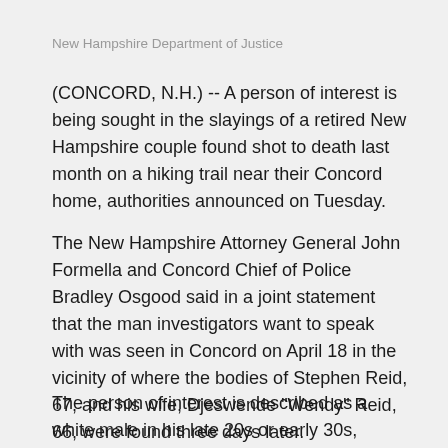New Hampshire Department of Justice
(CONCORD, N.H.) -- A person of interest is being sought in the slayings of a retired New Hampshire couple found shot to death last month on a hiking trail near their Concord home, authorities announced on Tuesday.
The New Hampshire Attorney General John Formella and Concord Chief of Police Bradley Osgood said in a joint statement that the man investigators want to speak with was seen in Concord on April 18 in the vicinity of where the bodies of Stephen Reid, 67, and his wife, Djeswende "Wendy" Reid, 66, were found three days later.
The person of interest is described as a white male in his late 20s or early 30s, authorities said. He's about 5-